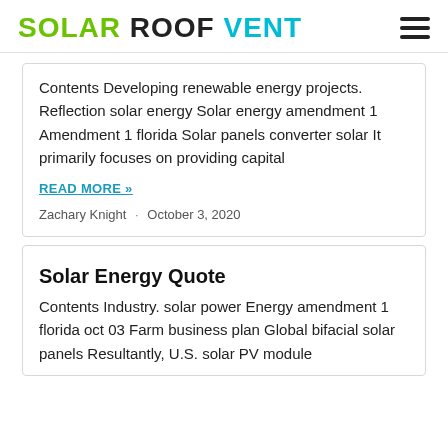SOLAR ROOF VENT
Contents Developing renewable energy projects. Reflection solar energy Solar energy amendment 1 Amendment 1 florida Solar panels converter solar It primarily focuses on providing capital
READ MORE »
Zachary Knight · October 3, 2020
Solar Energy Quote
Contents Industry. solar power Energy amendment 1 florida oct 03 Farm business plan Global bifacial solar panels Resultantly, U.S. solar PV module